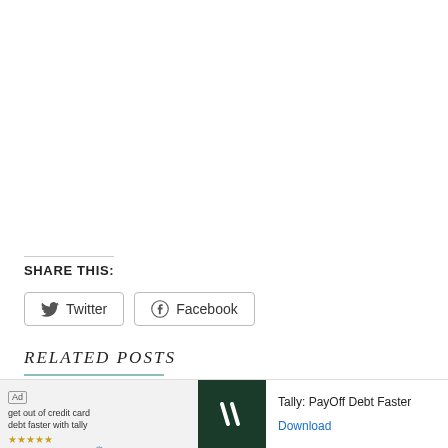SHARE THIS:
Twitter
Facebook
RELATED POSTS
[Figure (photo): Two related post thumbnail images side by side: left shows a teacup/bowl on a floral background, right shows baked/fried food items]
[Figure (infographic): Ad overlay: Tally PayOff Debt Faster advertisement with logo and Download button]